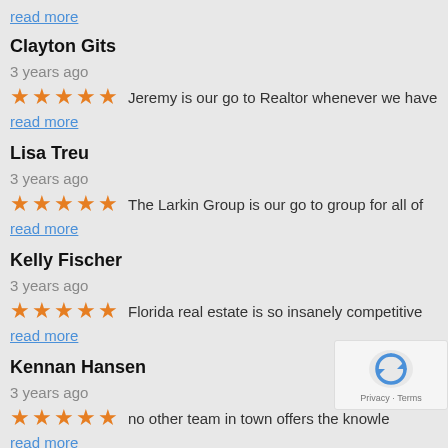read more
Clayton Gits
3 years ago
Jeremy is our go to Realtor whenever we have read more
Lisa Treu
3 years ago
The Larkin Group is our go to group for all of read more
Kelly Fischer
3 years ago
Florida real estate is so insanely competitive read more
Kennan Hansen
3 years ago
no other team in town offers the knowle... read more
Kennan Hansen